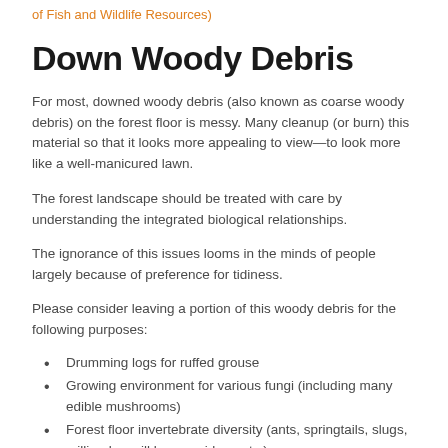of Fish and Wildlife Resources)
Down Woody Debris
For most, downed woody debris (also known as coarse woody debris) on the forest floor is messy. Many cleanup (or burn) this material so that it looks more appealing to view—to look more like a well-manicured lawn.
The forest landscape should be treated with care by understanding the integrated biological relationships.
The ignorance of this issues looms in the minds of people largely because of preference for tidiness.
Please consider leaving a portion of this woody debris for the following purposes:
Drumming logs for ruffed grouse
Growing environment for various fungi (including many edible mushrooms)
Forest floor invertebrate diversity (ants, springtails, slugs, millipedes, pill bugs, spiders, etc.)
Nutrient recycling...